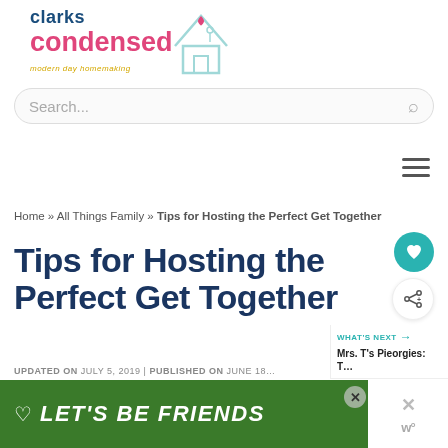[Figure (logo): Clarks Condensed logo with house illustration and tagline 'modern day homemaking']
Search...
Home » All Things Family » Tips for Hosting the Perfect Get Together
Tips for Hosting the Perfect Get Together
UPDATED ON JULY 5, 2019 | PUBLISHED ON JUNE 18…
[Figure (other): LET'S BE FRIENDS ad banner with husky dog image]